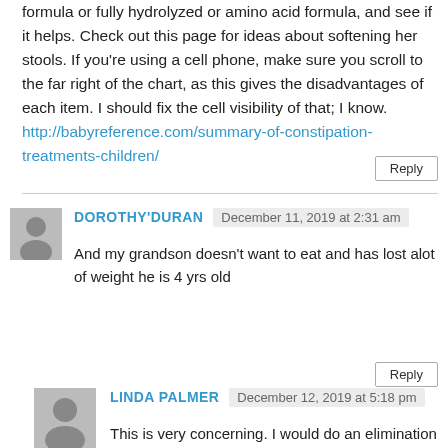formula or fully hydrolyzed or amino acid formula, and see if it helps. Check out this page for ideas about softening her stools. If you're using a cell phone, make sure you scroll to the far right of the chart, as this gives the disadvantages of each item. I should fix the cell visibility of that; I know. http://babyreference.com/summary-of-constipation-treatments-children/
DOROTHY'DURAN — December 11, 2019 at 2:31 am
And my grandson doesn't want to eat and has lost alot of weight he is 4 yrs old
LINDA PALMER — December 12, 2019 at 5:18 pm
This is very concerning. I would do an elimination diet to try to find out whether he's reacting badly